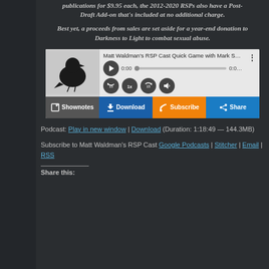publications for $9.95 each, the 2012-2020 RSPs also have a Post-Draft Add-on that's included at no additional charge.
Best yet, a proceeds from sales are set aside for a year-end donation to Darkness to Light to combat sexual abuse.
[Figure (screenshot): Podcast audio player widget showing 'Matt Waldman's RSP Cast Quick Game with Mark S' with playback controls, progress bar showing 0:00, speed controls (15 back, 1x, 15 forward), and volume. Below are four action buttons: Shownotes (dark gray), Download (blue), Subscribe (orange), Share (blue).]
Podcast: Play in new window | Download (Duration: 1:18:49 — 144.3MB)
Subscribe to Matt Waldman's RSP Cast Google Podcasts | Stitcher | Email | RSS
Share this: